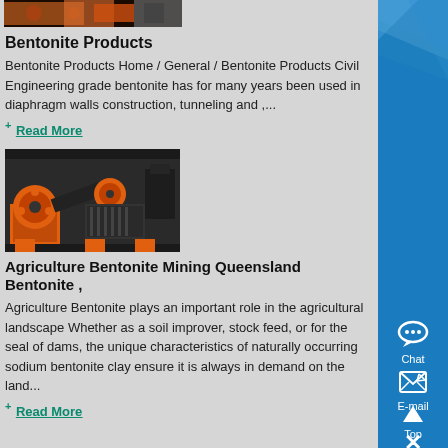[Figure (photo): Top strip image showing industrial/mining equipment in orange and brown tones]
Bentonite Products
Bentonite Products Home / General / Bentonite Products Civil Engineering grade bentonite has for many years been used in diaphragm walls construction, tunneling and ,...
+ Read More
[Figure (photo): Industrial machine with orange rollers and belt drive system on dark background]
Agriculture Bentonite Mining Queensland Bentonite ,
Agriculture Bentonite plays an important role in the agricultural landscape Whether as a soil improver, stock feed, or for the seal of dams, the unique characteristics of naturally occurring sodium bentonite clay ensure it is always in demand on the land...
+ Read More